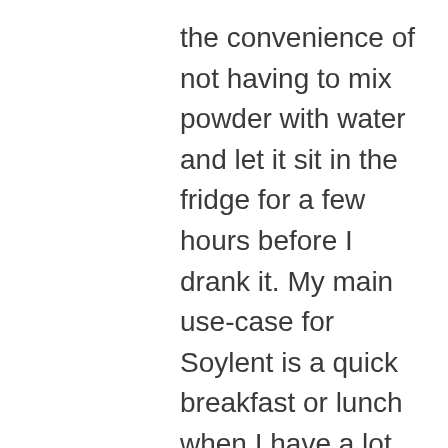the convenience of not having to mix powder with water and let it sit in the fridge for a few hours before I drank it. My main use-case for Soylent is a quick breakfast or lunch when I have a lot going on and no time to make something. Drinking a bottle of 2.0 keeps me going until dinner time. It is thinner and even more neutrally flavored than 1.5. It has a slight cereal milk taste. I didn't dislike the flavor, but I found it to be a whole lot better when I added in some of my iced